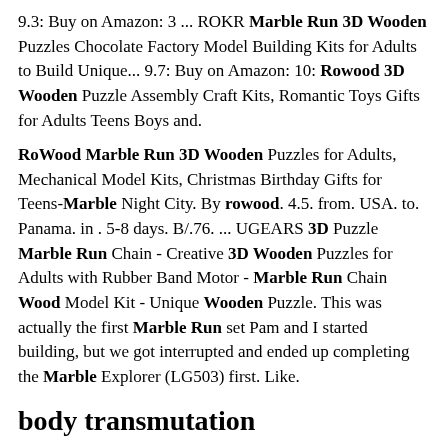9.3: Buy on Amazon: 3 ... ROKR Marble Run 3D Wooden Puzzles Chocolate Factory Model Building Kits for Adults to Build Unique... 9.7: Buy on Amazon: 10: Rowood 3D Wooden Puzzle Assembly Craft Kits, Romantic Toys Gifts for Adults Teens Boys and.
RoWood Marble Run 3D Wooden Puzzles for Adults, Mechanical Model Kits, Christmas Birthday Gifts for Teens-Marble Night City. By rowood. 4.5. from. USA. to. Panama. in . 5-8 days. B/.76. ... UGEARS 3D Puzzle Marble Run Chain - Creative 3D Wooden Puzzles for Adults with Rubber Band Motor - Marble Run Chain Wood Model Kit - Unique Wooden Puzzle. This was actually the first Marble Run set Pam and I started building, but we got interrupted and ended up completing the Marble Explorer (LG503) first. Like.
body transmutation
Great 3D Wooden Puzzle &Toy for both adults and kids. It is the best Educational Toys and holidays gift (such as Christmas, Birthday )Gift for Boys &Girls, Teens & Adults, Lovely Home Decoration. ... But We Think Equally Exciting, Wooden Marble Explorer Marble Run. This Is A Great Parent & Child Project To Build Together During Holidays Or Over.